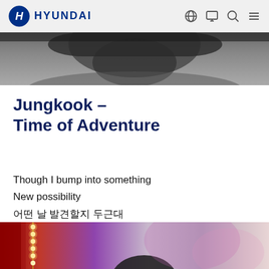HYUNDAI
[Figure (photo): Partial black and white photo showing upper portion of a person's face/head, cropped near the top of the page]
Jungkook – Time of Adventure
Though I bump into something
New possibility
어떤 날 발견할지 두근대
[Figure (photo): Colorful photo showing a person (Jungkook) in a vibrant scene with pink and purple background lighting, decorative lights on the left side]